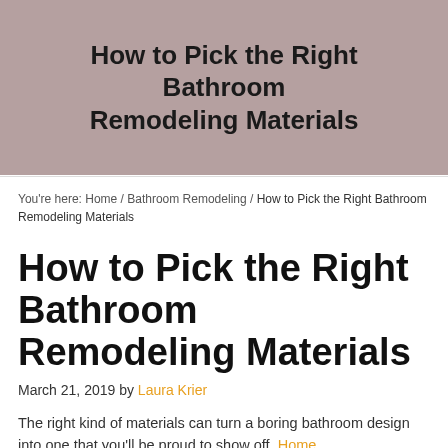[Figure (photo): Hero image with muted mauve/pink background showing bathroom tile or wall texture, with article title overlaid in bold dark text]
How to Pick the Right Bathroom Remodeling Materials
You're here: Home / Bathroom Remodeling / How to Pick the Right Bathroom Remodeling Materials
How to Pick the Right Bathroom Remodeling Materials
March 21, 2019 by Laura Krier
The right kind of materials can turn a boring bathroom design into one that you'll be proud to show off. Home